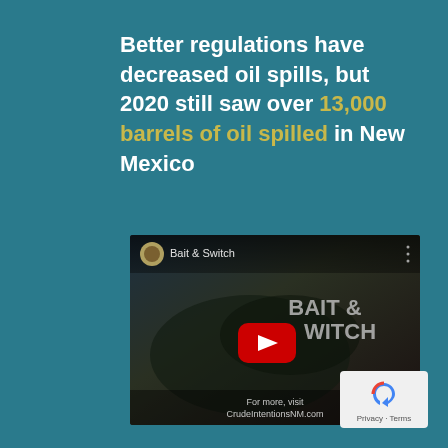Better regulations have decreased oil spills, but 2020 still saw over 13,000 barrels of oil spilled in New Mexico
[Figure (screenshot): YouTube video thumbnail for 'Bait & Switch' — shows a fish being held, YouTube play button overlay, title text 'BAIT & WITCH' in large letters, and 'For more, visit CrudeIntentionsNM.com' text at bottom]